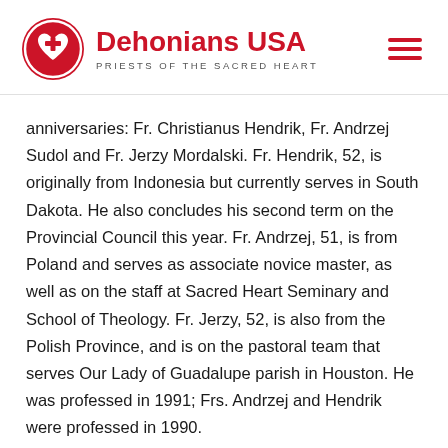Dehonians USA — PRIESTS OF THE SACRED HEART
anniversaries:  Fr. Christianus Hendrik, Fr. Andrzej Sudol and Fr. Jerzy Mordalski. Fr. Hendrik, 52, is originally from Indonesia but currently serves in South Dakota. He also concludes his second term on the Provincial Council this year. Fr. Andrzej, 51, is from Poland and serves as associate novice master, as well as on the staff at Sacred Heart Seminary and School of Theology. Fr. Jerzy, 52, is also from the Polish Province, and is on the pastoral team that serves Our Lady of Guadalupe parish in Houston. He was professed in 1991; Frs. Andrzej and Hendrik were professed in 1990.
Three of the silver jubilarians were classmates: Fr. Joseph